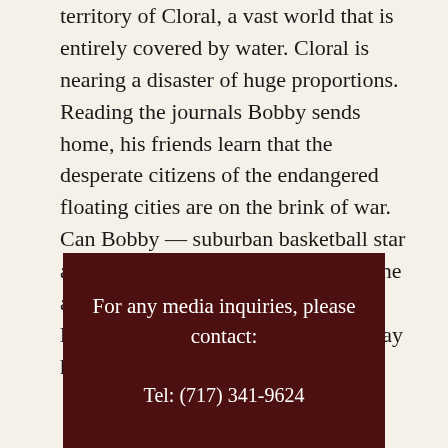territory of Cloral, a vast world that is entirely covered by water. Cloral is nearing a disaster of huge proportions. Reading the journals Bobby sends home, his friends learn that the desperate citizens of the endangered floating cities are on the brink of war. Can Bobby — suburban basketball star and all-around nice guy — help rid the area of marauders, and locate the legendary lost land of Faar, which may hold the key to Cloral's survival?
For any media inquiries, please contact:
Tel: (717) 341-9624